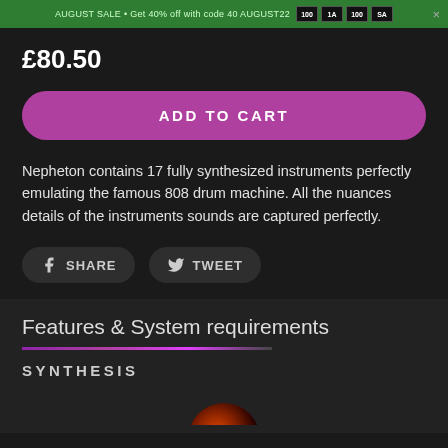AUGUST SALE • Get 40% off with code 40 AUGUST22 ×
£80.50
ADD TO CART
Nepheton contains 17 fully synthesized instruments perfectly emulating the famous 808 drum machine. All the nuances details of the instruments sounds are captured perfectly.
SHARE   TWEET
Features & System requirements
SYNTHESIS
[Figure (photo): Partial view of a drum machine instrument at the bottom of the page]